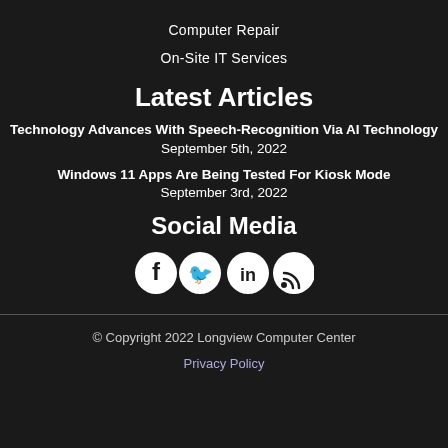Computer Repair
On-Site IT Services
Latest Articles
Technology Advances With Speech-Recognition Via AI Technology
September 5th, 2022
Windows 11 Apps Are Being Tested For Kiosk Mode
September 3rd, 2022
Social Media
[Figure (infographic): Four circular social media icons: Facebook, Twitter, LinkedIn, RSS feed]
© Copyright 2022 Longview Computer Center
Privacy Policy